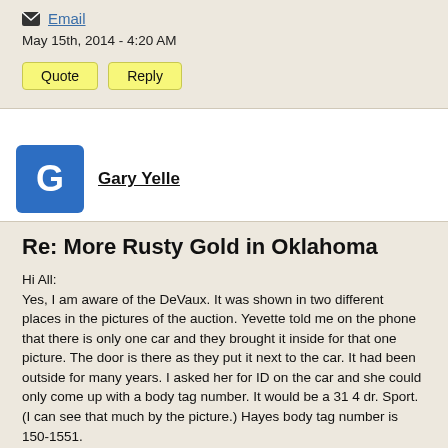Email
May 15th, 2014 - 4:20 AM
Quote   Reply
Gary Yelle
Re: More Rusty Gold in Oklahoma
Hi All:
Yes, I am aware of the DeVaux. It was shown in two different places in the pictures of the auction. Yevette told me on the phone that there is only one car and they brought it inside for that one picture. The door is there as they put it next to the car. It had been outside for many years. I asked her for ID on the car and she could only come up with a body tag number. It would be a 31 4 dr. Sport. (I can see that much by the picture.) Hayes body tag number is 150-1551.
Oh, Don..How far is Enid from you? DeVaux owners from Michigan were wondering who would be close.